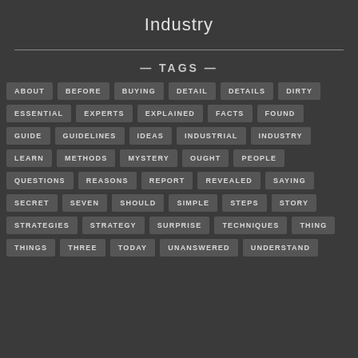Industry
— TAGS —
ABOUT
BEFORE
BUYING
DETAIL
DETAILS
DIRTY
ESSENTIAL
EXPERTS
EXPLAINED
FACTS
FOUND
GUIDE
GUIDELINES
IDEAS
INDUSTRIAL
INDUSTRY
LEARN
METHODS
MYSTERY
OUGHT
PEOPLE
QUESTIONS
REASONS
REPORT
REVEALED
SAYING
SECRET
SEVEN
SHOULD
SIMPLE
STEPS
STORY
STRATEGIES
STRATEGY
SURPRISE
TECHNIQUES
THING
THINGS
THREE
TODAY
UNANSWERED
UNDERSTAND